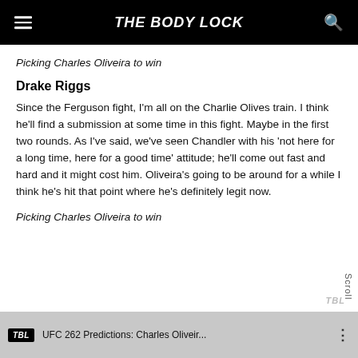THE BODY LOCK
Picking Charles Oliveira to win
Drake Riggs
Since the Ferguson fight, I'm all on the Charlie Olives train. I think he'll find a submission at some time in this fight. Maybe in the first two rounds. As I've said, we've seen Chandler with his 'not here for a long time, here for a good time' attitude; he'll come out fast and hard and it might cost him. Oliveira's going to be around for a while I think he's hit that point where he's definitely legit now.
Picking Charles Oliveira to win
UFC 262 Predictions: Charles Oliveir...